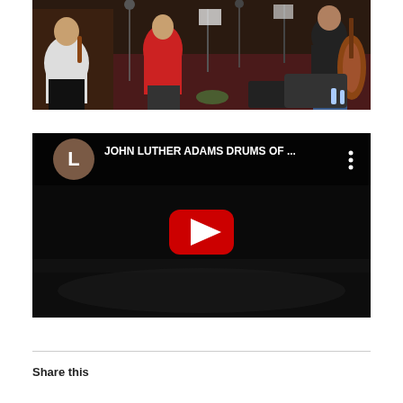[Figure (photo): Musicians playing string instruments in an indoor performance setting. A violinist in white shirt on the left, a figure in red in center, and a cellist on the right with a cello, all in a dimly lit venue with music stands.]
[Figure (screenshot): YouTube video thumbnail/player showing 'JOHN LUTHER ADAMS DRUMS OF ...' with a user avatar circle marked 'L' and three-dot menu. Dark background with a piano visible and a red YouTube play button in the center.]
Share this